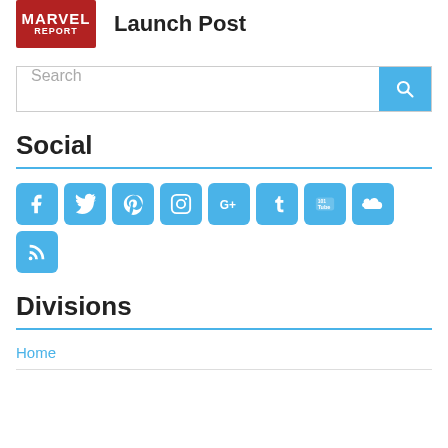[Figure (logo): Marvel Report logo — red background with MARVEL in bold white text and REPORT below]
Launch Post
Search
Social
[Figure (infographic): Row of 9 social media icon buttons: Facebook, Twitter, Pinterest, Instagram, Google+, Tumblr, YouTube/101Tube, SoundCloud, RSS]
Divisions
Home